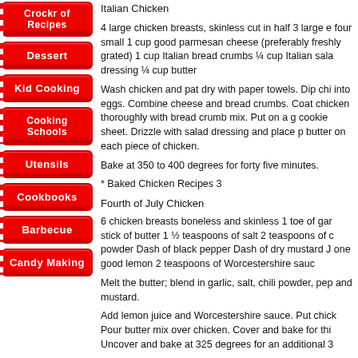Crockr of Recipes
Dessert
Kid Cooking
Cooking Schools
Utensils
Cookbooks
Barbecue
Candy Making
Italian Chicken
4 large chicken breasts, skinless cut in half 3 large e four small 1 cup good parmesan cheese (preferably freshly grated) 1 cup Italian bread crumbs ¼ cup Italian sala dressing ¼ cup butter
Wash chicken and pat dry with paper towels. Dip chi into eggs. Combine cheese and bread crumbs. Coat chicken thoroughly with bread crumb mix. Put on a g cookie sheet. Drizzle with salad dressing and place p butter on each piece of chicken.
Bake at 350 to 400 degrees for forty five minutes.
* Baked Chicken Recipes 3
Fourth of July Chicken
6 chicken breasts boneless and skinless 1 toe of gar stick of butter 1 ½ teaspoons of salt 2 teaspoons of c powder Dash of black pepper Dash of dry mustard J one good lemon 2 teaspoons of Worcestershire sauc
Melt the butter; blend in garlic, salt, chili powder, pep and mustard.
Add lemon juice and Worcestershire sauce. Put chick Pour butter mix over chicken. Cover and bake for thi Uncover and bake at 325 degrees for an additional 3